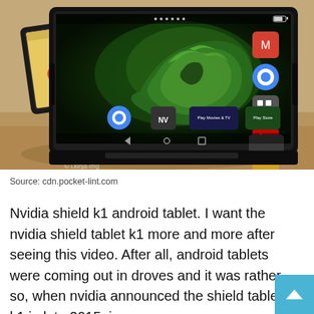[Figure (photo): Photo of two NVIDIA Shield K1 Android tablets on a wooden surface. The foreground tablet displays the NVIDIA logo wallpaper (green swirling shape) with Android app icons. A second tablet is visible behind it showing a home screen with app icons.]
Source: cdn.pocket-lint.com
Nvidia shield k1 android tablet. I want the nvidia shield tablet k1 more and more after seeing this video. After all, android tablets were coming out in droves and it was rather so, when nvidia announced the shield tablet k1 in late 2015, i was